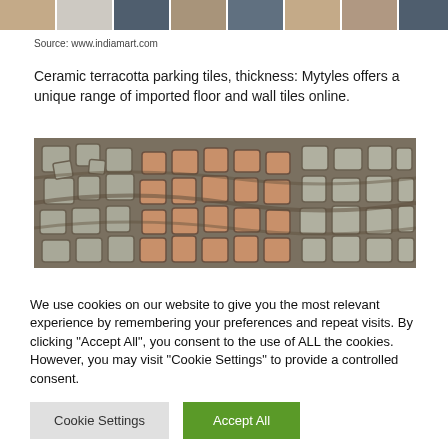[Figure (photo): Strip of ceramic/stone tiles in various colors: beige, light gray, dark gray, brown, slate blue, tan]
Source: www.indiamart.com
Ceramic terracotta parking tiles, thickness: Mytyles offers a unique range of imported floor and wall tiles online.
[Figure (photo): Ceramic terracotta parking tiles showing a mosaic pattern with grey and orange/terracotta colored stone-shaped tiles arranged in a curved cobblestone pattern]
We use cookies on our website to give you the most relevant experience by remembering your preferences and repeat visits. By clicking “Accept All”, you consent to the use of ALL the cookies. However, you may visit “Cookie Settings” to provide a controlled consent.